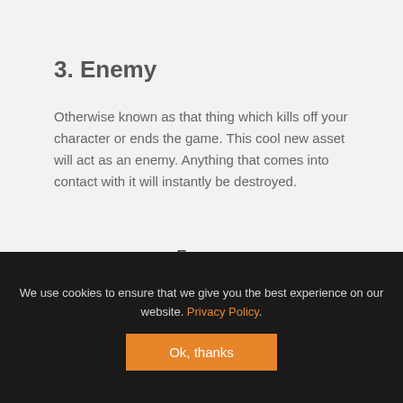3. Enemy
Otherwise known as that thing which kills off your character or ends the game. This cool new asset will act as an enemy. Anything that comes into contact with it will instantly be destroyed.
Enemy
[Figure (screenshot): Dark background image showing a grey rounded blob/enemy sprite at the bottom of the page content area]
We use cookies to ensure that we give you the best experience on our website. Privacy Policy.
Ok, thanks